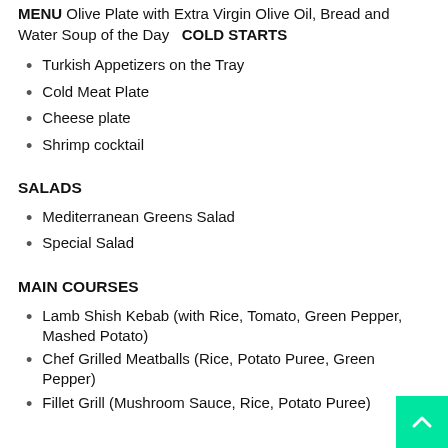MENU Olive Plate with Extra Virgin Olive Oil, Bread and Water Soup of the Day   COLD STARTS
Turkish Appetizers on the Tray
Cold Meat Plate
Cheese plate
Shrimp cocktail
SALADS
Mediterranean Greens Salad
Special Salad
MAIN COURSES
Lamb Shish Kebab (with Rice, Tomato, Green Pepper, Mashed Potato)
Chef Grilled Meatballs (Rice, Potato Puree, Green Pepper)
Fillet Grill (Mushroom Sauce, Rice, Potato Puree)